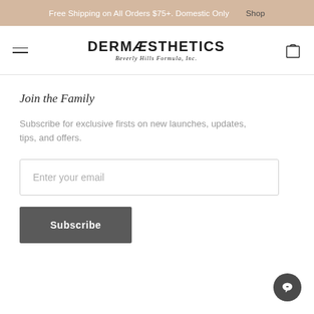Free Shipping on All Orders $75+. Domestic Only  Shop
[Figure (logo): DERMÆSTHETICS Beverly Hills Formula, Inc. logo with hamburger menu and cart icon in navigation bar]
Join the Family
Subscribe for exclusive firsts on new launches, updates, tips, and offers.
Enter your email
Subscribe